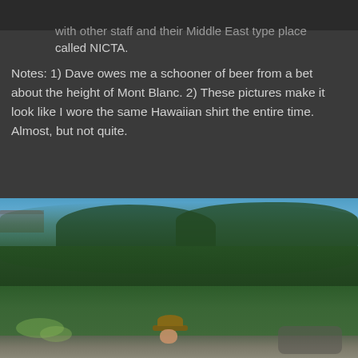...with other staff and their Middle East type place called NICTA.
Notes: 1) Dave owes me a schooner of beer from a bet about the height of Mont Blanc. 2) These pictures make it look like I wore the same Hawaiian shirt the entire time. Almost, but not quite.
[Figure (photo): Outdoor photo showing dense green trees and foliage against a blue sky, with a person wearing a wide-brimmed hat visible at the bottom center of the image, sitting or crouching among rocks and vegetation.]